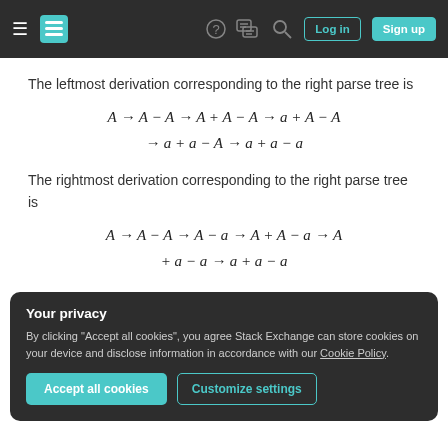Stack Exchange navigation bar with hamburger menu, logo, help, chat, search icons, Log in and Sign up buttons
The leftmost derivation corresponding to the right parse tree is
The rightmost derivation corresponding to the right parse tree is
Your privacy
By clicking "Accept all cookies", you agree Stack Exchange can store cookies on your device and disclose information in accordance with our Cookie Policy.